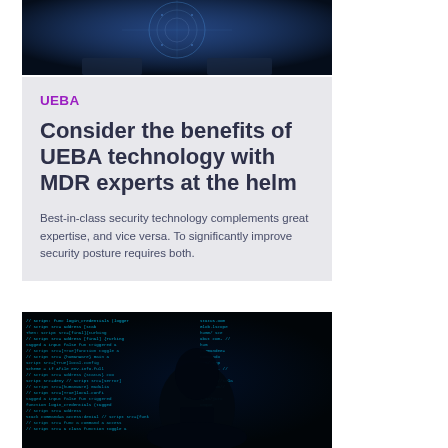[Figure (photo): Dark blue technology/cyber background with glowing circular holographic interface element, person's hands visible]
UEBA
Consider the benefits of UEBA technology with MDR experts at the helm
Best-in-class security technology complements great expertise, and vice versa. To significantly improve security posture requires both.
[Figure (photo): Dark cybersecurity background with blue code/script text and silhouette of a person's head]